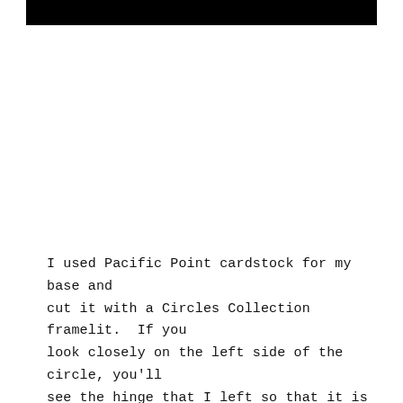[Figure (photo): A dark/black image at the top of the page, partially visible, appears to be a cropped photograph.]
I used Pacific Point cardstock for my base and cut it with a Circles Collection framelit. If you look closely on the left side of the circle, you'll see the hinge that I left so that it is all one piece. The World Map background stamp was inked with Versamark and Basic Gray and stamped on Whisper White. Then it was heat